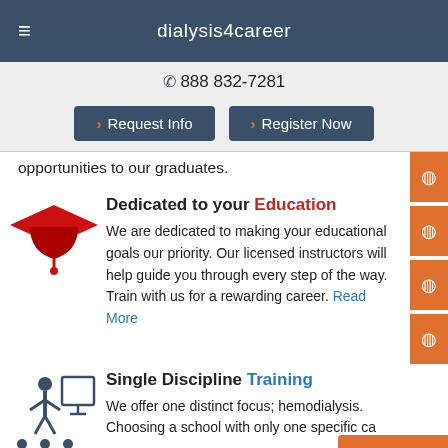dialysis4career
888 832-7281
Request Info | Register Now
opportunities to our graduates.
Dedicated to your Education
We are dedicated to making your educational goals our priority. Our licensed instructors will help guide you through every step of the way. Train with us for a rewarding career. Read More
Single Discipline Training
We offer one distinct focus; hemodialysis. Choosing a school with only one specific ca...